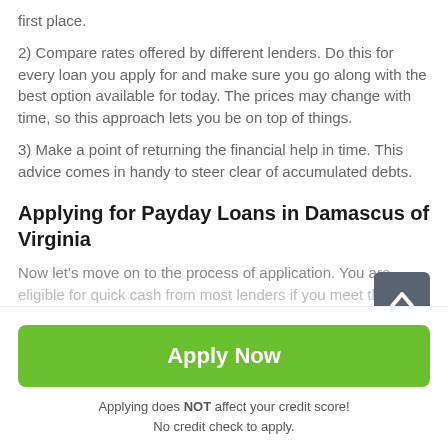first place.
2) Compare rates offered by different lenders. Do this for every loan you apply for and make sure you go along with the best option available for today. The prices may change with time, so this approach lets you be on top of things.
3) Make a point of returning the financial help in time. This advice comes in handy to steer clear of accumulated debts.
Applying for Payday Loans in Damascus of Virginia
Now let's move on to the process of application. You are eligible for quick cash from most lenders if you meet the
Apply Now
Applying does NOT affect your credit score!
No credit check to apply.